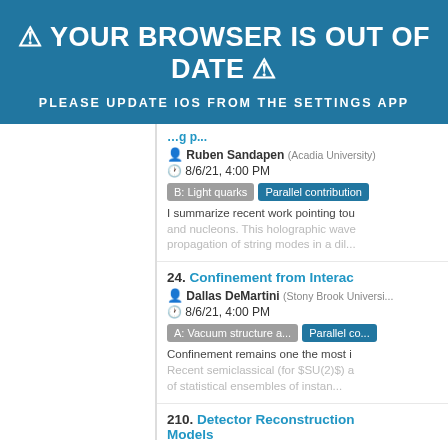⚠ YOUR BROWSER IS OUT OF DATE ⚠
PLEASE UPDATE IOS FROM THE SETTINGS APP
Ruben Sandapen (Acadia University)
8/6/21, 4:00 PM
B: Light quarks | Parallel contribution
I summarize recent work pointing tow... and nucleons. This holographic wave... propagation of string modes in a dil...
24. Confinement from Interac...
Dallas DeMartini (Stony Brook Universi...)
8/6/21, 4:00 PM
A: Vacuum structure a... | Parallel co...
Confinement remains one the most i... Recent semiclassical (for SSU(2)S) a... of statistical ensembles of instan...
210. Detector Reconstruction... Models